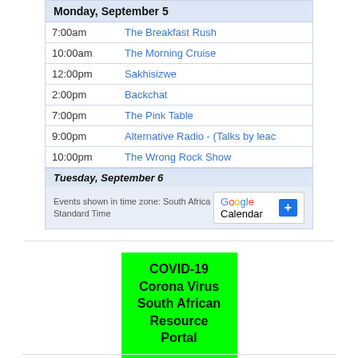| Time | Show |
| --- | --- |
| 7:00am | The Breakfast Rush |
| 10:00am | The Morning Cruise |
| 12:00pm | Sakhisizwe |
| 2:00pm | Backchat |
| 7:00pm | The Pink Table |
| 9:00pm | Alternative Radio - (Talks by leac |
| 10:00pm | The Wrong Rock Show |
Events shown in time zone: South Africa Standard Time
[Figure (logo): Google Calendar logo with + button]
[Figure (infographic): Green banner: COVID-19 Corona Virus South African Resource Portal]